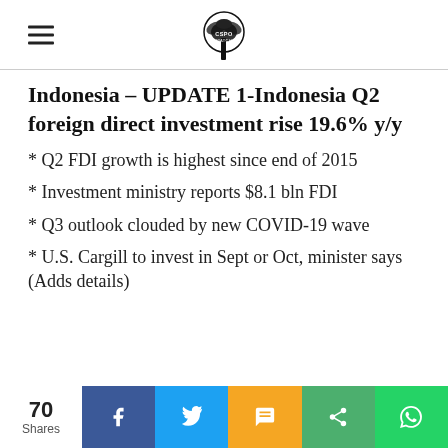CSPO Watch logo and navigation
Indonesia - UPDATE 1-Indonesia Q2 foreign direct investment rise 19.6% y/y
* Q2 FDI growth is highest since end of 2015
* Investment ministry reports $8.1 bln FDI
* Q3 outlook clouded by new COVID-19 wave
* U.S. Cargill to invest in Sept or Oct, minister says (Adds details)
70 Shares — Social share bar: Facebook, Twitter, SMS, Share, WhatsApp